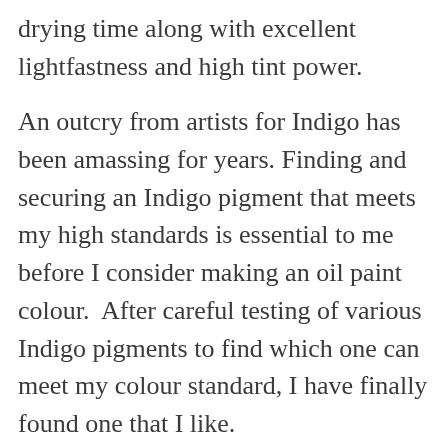drying time along with excellent lightfastness and high tint power.
An outcry from artists for Indigo has been amassing for years. Finding and securing an Indigo pigment that meets my high standards is essential to me before I consider making an oil paint colour.  After careful testing of various Indigo pigments to find which one can meet my colour standard, I have finally found one that I like.
Nocturne painters will be especially pleased as my new Indigo is what you have been waiting for! Artists who like painting anything from, sultry skies to more conservative painters looking for ways to enhance greys and shadows, my Indigo is a paint you should